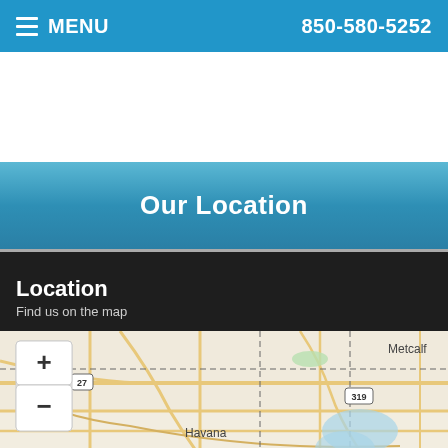MENU   850-580-5252
Our Location
Location
Find us on the map
[Figure (map): Interactive street map showing area around Havana, Florida with roads, route 27, route 319, Metcalf label, blue water bodies, and zoom controls (+/-). Accessibility View button visible at bottom.]